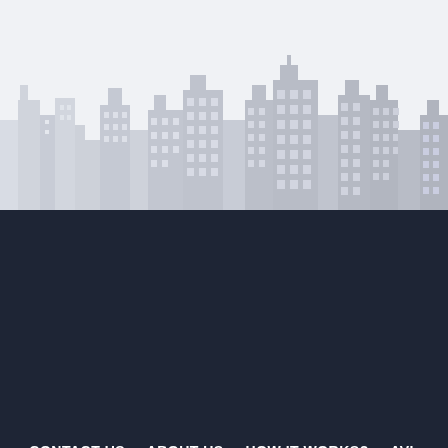[Figure (illustration): City skyline silhouette illustration in light gray on white/light gray background, showing buildings of various heights]
CONTACT US    ABOUT US    HOW IT WORKS?    AVL PRIVACY POLICIES    AVL TERMS OF SERVICE
⬇ CASH RECEIPT
⬇ CREDIT CARD AUTH FORM
Airport Van and Limo L.L.C © 2008 - 2017 Powered By Bespoke Digital Media , All Rights Reserved.